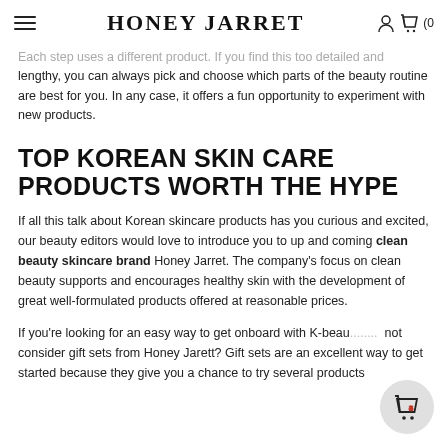HONEY JARRET
Each step uses a different product. If you find this too detailed and lengthy, you can always pick and choose which parts of the beauty routine are best for you. In any case, it offers a fun opportunity to experiment with new products.
TOP KOREAN SKIN CARE PRODUCTS WORTH THE HYPE
If all this talk about Korean skincare products has you curious and excited, our beauty editors would love to introduce you to up and coming clean beauty skincare brand Honey Jarret. The company's focus on clean beauty supports and encourages healthy skin with the development of great well-formulated products offered at reasonable prices.
If you're looking for an easy way to get onboard with K-beauty, why not consider gift sets from Honey Jarett? Gift sets are an excellent way to get started because they give you a chance to try several products